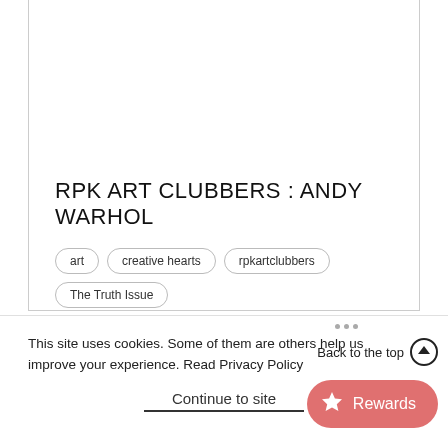RPK ART CLUBBERS : ANDY WARHOL
art
creative hearts
rpkartclubbers
The Truth Issue
by Katie Rockliff  |  March 27, 2020  |  2 min read
This site uses cookies. Some of them are others help us improve your experience. Read Privacy Policy
Back to the top
Continue to site
Rewards